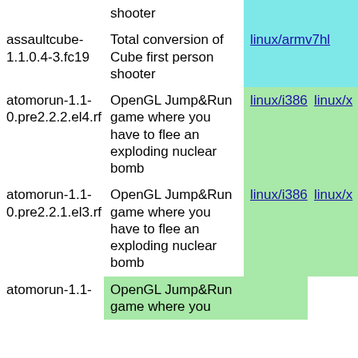| Package | Description | Arch1 | Arch2 |
| --- | --- | --- | --- |
|  | shooter |  |  |
| assaultcube-1.1.0.4-3.fc19 | Total conversion of Cube first person shooter | linux/armv7hl |  |
| atomorun-1.1-0.pre2.2.2.el4.rf | OpenGL Jump&Run game where you have to flee an exploding nuclear bomb | linux/i386 | linux/x… |
| atomorun-1.1-0.pre2.2.1.el3.rf | OpenGL Jump&Run game where you have to flee an exploding nuclear bomb | linux/i386 | linux/x… |
| atomorun-1.1- | OpenGL Jump&Run game where you |  |  |